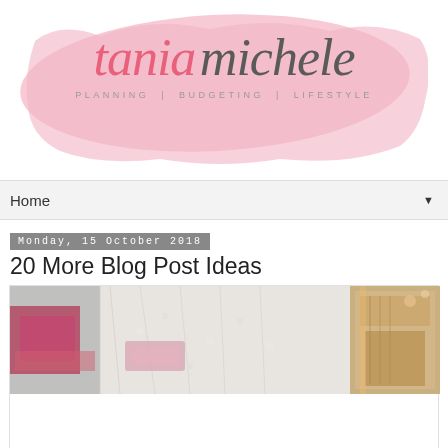[Figure (logo): Tania Michele blog logo with pink watercolor brush stroke background. Text reads 'tania michele' in cursive script with tagline 'PLANNING | BUDGETING | LIFESTYLE']
Home ▼
Monday, 15 October 2018
20 More Blog Post Ideas
[Figure (photo): Flat lay photo of craft and planning items on a wooden surface including pink and decorative items, jewelry, and wooden decorations]